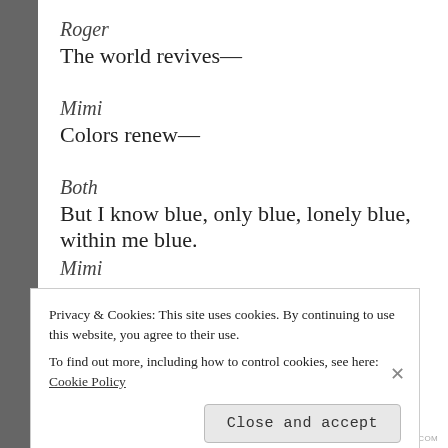Roger
The world revives—
Mimi
Colors renew—
Both
But I know blue, only blue, lonely blue, within me blue.
Mimi
Privacy & Cookies: This site uses cookies. By continuing to use this website, you agree to their use.
To find out more, including how to control cookies, see here: Cookie Policy
Close and accept